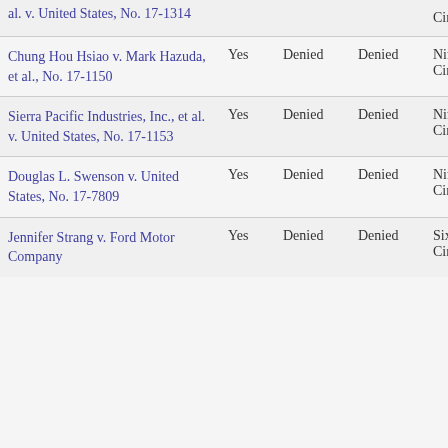| Case |  | Denied | Denied | Circ |
| --- | --- | --- | --- | --- |
| al. v. United States, No. 17-1314 |  |  |  | Circ |
| Chung Hou Hsiao v. Mark Hazuda, et al., No. 17-1150 | Yes | Denied | Denied | Ninth Circ |
| Sierra Pacific Industries, Inc., et al. v. United States, No. 17-1153 | Yes | Denied | Denied | Ninth Circ |
| Douglas L. Swenson v. United States, No. 17-7809 | Yes | Denied | Denied | Ninth Circ |
| Jennifer Strang v. Ford Motor Company | Yes | Denied | Denied | Sixth Circ |